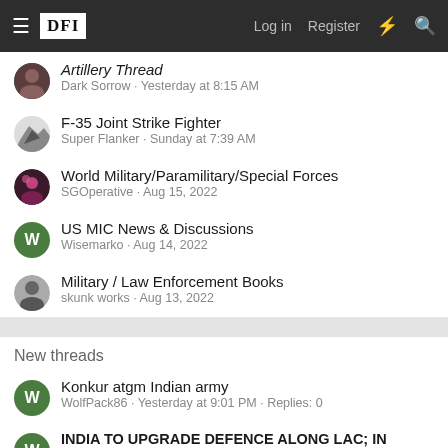DFI — Log in | Register
Artillery Thread — Dark Sorrow · Yesterday at 8:15 AM
F-35 Joint Strike Fighter — Super Flanker · Sunday at 7:39 AM
World Military/Paramilitary/Special Forces — SGOperative · Aug 15, 2022
US MIC News & Discussions — Wisemarko · Aug 14, 2022
Military / Law Enforcement Books — skunk works · Aug 13, 2022
New threads
Konkur atgm Indian army — WolfPack86 · Yesterday at 9:01 PM · Replies: 0
INDIA TO UPGRADE DEFENCE ALONG LAC; IN ADVA... — WolfPack86 · Yesterday at 9:38 AM · Replies: 0